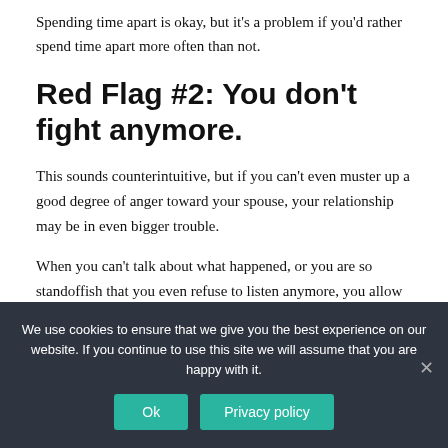Spending time apart is okay, but it's a problem if you'd rather spend time apart more often than not.
Red Flag #2: You don't fight anymore.
This sounds counterintuitive, but if you can't even muster up a good degree of anger toward your spouse, your relationship may be in even bigger trouble.
When you can't talk about what happened, or you are so standoffish that you even refuse to listen anymore, you allow
We use cookies to ensure that we give you the best experience on our website. If you continue to use this site we will assume that you are happy with it.